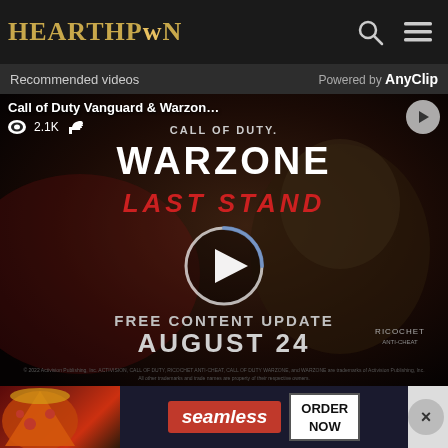HearthPwn
Recommended videos   Powered by AnyClip
[Figure (screenshot): Call of Duty Vanguard & Warzone video thumbnail showing a bearded man with game title 'WARZONE LAST STAND' and text 'FREE CONTENT UPDATE AUGUST 24' with Ricochet anti-cheat logo. Play button overlay in center. Views: 2.1K with like icon.]
[Figure (screenshot): Advertisement banner for Seamless food delivery showing pizza image on left, Seamless logo in red in center, and 'ORDER NOW' button on right with close X button]